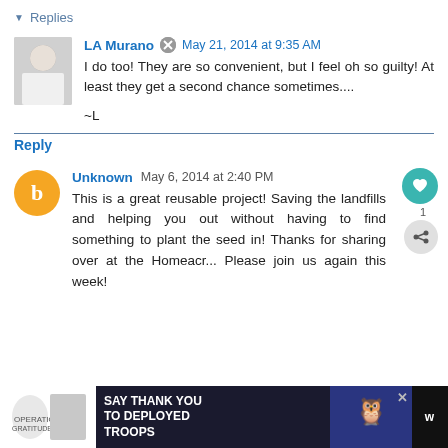▼ Replies
LA Murano  May 21, 2014 at 9:35 AM
I do too! They are so convenient, but I feel oh so guilty! At least they get a second chance sometimes....
~L
Reply
Unknown  May 6, 2014 at 2:40 PM
This is a great reusable project! Saving the landfills and helping you out without having to find something to plant the seed in! Thanks for sharing over at the Homeacr... Please join us again this week!
SAY THANK YOU TO DEPLOYED TROOPS